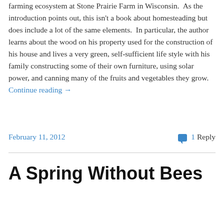farming ecosystem at Stone Prairie Farm in Wisconsin.  As the introduction points out, this isn't a book about homesteading but does include a lot of the same elements.  In particular, the author learns about the wood on his property used for the construction of his house and lives a very green, self-sufficient life style with his family constructing some of their own furniture, using solar power, and canning many of the fruits and vegetables they grow. Continue reading →
February 11, 2012
1 Reply
A Spring Without Bees